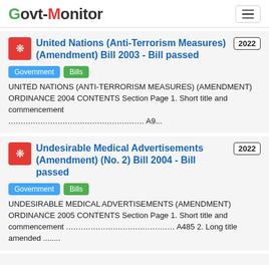Govt-Monitor
United Nations (Anti-Terrorism Measures) (Amendment) Bill 2003 - Bill passed
Government
Bills
UNITED NATIONS (ANTI-TERRORISM MEASURES) (AMENDMENT) ORDINANCE 2004 CONTENTS Section Page 1. Short title and commencement ........................................................ A9...
Undesirable Medical Advertisements (Amendment) (No. 2) Bill 2004 - Bill passed
Government
Bills
UNDESIRABLE MEDICAL ADVERTISEMENTS (AMENDMENT) ORDINANCE 2005 CONTENTS Section Page 1. Short title and commencement ............................................. A485 2. Long title amended ........